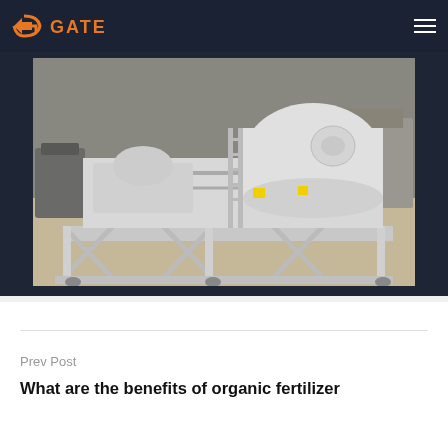machine with multiple tanks
[Figure (photo): Large industrial machine (possibly a fertilizer processing unit) with white tanks and mechanical components, mounted on a wheeled steel frame, photographed in an industrial warehouse/factory setting.]
Prev Post
What are the benefits of organic fertilizer